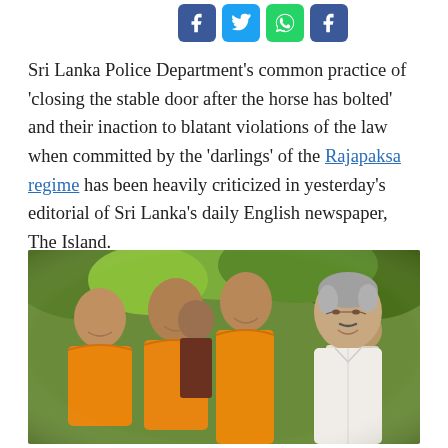[Figure (other): Social media sharing icons: Facebook (blue), Twitter (blue), WhatsApp (green), Facebook share (blue)]
Sri Lanka Police Department's common practice of 'closing the stable door after the horse has bolted' and their inaction to blatant violations of the law when committed by the 'darlings' of the Rajapaksa regime has been heavily criticized in yesterday's editorial of Sri Lanka's daily English newspaper, The Island.
[Figure (photo): Group photo of smiling men, several wearing orange Buddhist monk robes, alongside a grey-haired man in a white shirt on the right side, outdoors with green foliage in the background.]